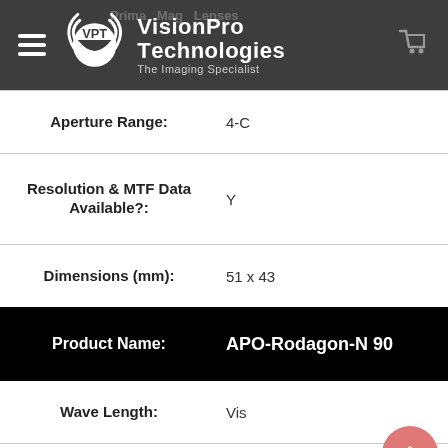VisionPro Technologies — The Imaging Specialist
| Field | Value |
| --- | --- |
| Aperture Range: | 4-C |
| Resolution & MTF Data Available?: | Y |
| Dimensions (mm): | 51 x 43 |
| Product Name: | APO-Rodagon-N 90 |
| Wave Length: | Vis |
| Mount: | Any |
| Focal Length (mm): | 90 |